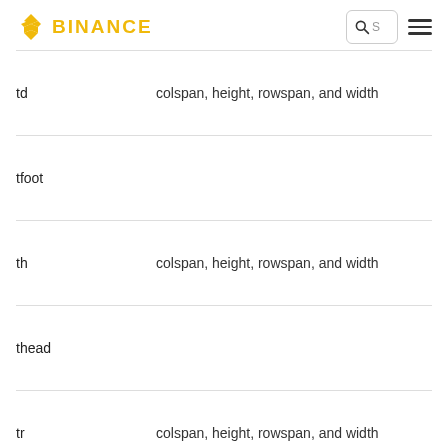BINANCE
| Element | Attributes |
| --- | --- |
| td | colspan, height, rowspan, and width |
| tfoot |  |
| th | colspan, height, rowspan, and width |
| thead |  |
| tr | colspan, height, rowspan, and width |
| tt |  |
| u |  |